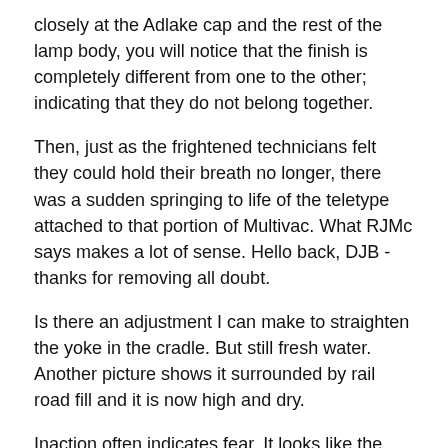closely at the Adlake cap and the rest of the lamp body, you will notice that the finish is completely different from one to the other; indicating that they do not belong together.
Then, just as the frightened technicians felt they could hold their breath no longer, there was a sudden springing to life of the teletype attached to that portion of Multivac. What RJMc says makes a lot of sense. Hello back, DJB - thanks for removing all doubt.
Is there an adjustment I can make to straighten the yoke in the cradle. But still fresh water. Another picture shows it surrounded by rail road fill and it is now high and dry.
Inaction often indicates fear. It looks like the gentleman had a blank key that must have operated a signal lock, and he likely did all the stamping himself all the letters appear to be from the same set of dies to help identify it on his ring.